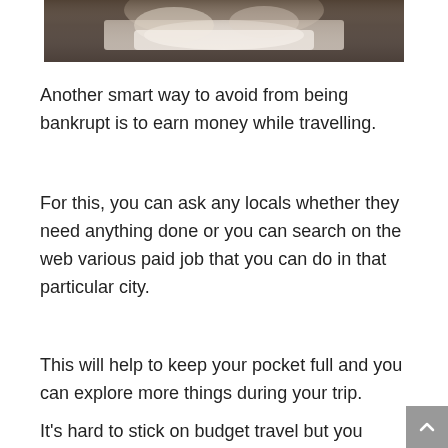[Figure (photo): Partial photo at top of page showing a blurred image, appears to be hands holding a white plate/dish against a dark background]
Another smart way to avoid from being bankrupt is to earn money while travelling.
For this, you can ask any locals whether they need anything done or you can search on the web various paid job that you can do in that particular city.
This will help to keep your pocket full and you can explore more things during your trip.
It's hard to stick on budget travel but you should never lose the sight of your goal.